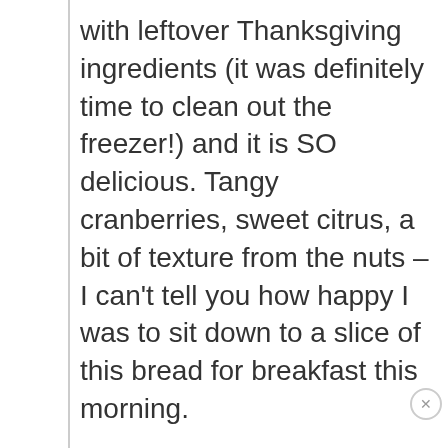with leftover Thanksgiving ingredients (it was definitely time to clean out the freezer!) and it is SO delicious. Tangy cranberries, sweet citrus, a bit of texture from the nuts – I can't tell you how happy I was to sit down to a slice of this bread for breakfast this morning.
I'll advise others out there who are ready to try it to DEFINITELY follow Nikki's advice to grease the pan liberally. I apparently wasn't liberal enough, and may